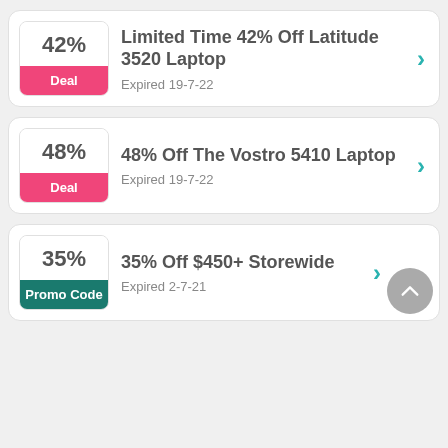[Figure (other): Deal card: 42% discount badge (pink Deal label), title 'Limited Time 42% Off Latitude 3520 Laptop', expired 19-7-22]
[Figure (other): Deal card: 48% discount badge (pink Deal label), title '48% Off The Vostro 5410 Laptop', expired 19-7-22]
[Figure (other): Deal card: 35% discount badge (teal Promo Code label), title '35% Off $450+ Storewide', expired 2-7-21, with back-to-top button]